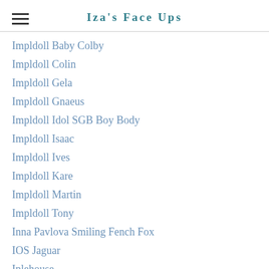Iza's Face Ups
Impldoll Baby Colby
Impldoll Colin
Impldoll Gela
Impldoll Gnaeus
Impldoll Idol SGB Boy Body
Impldoll Isaac
Impldoll Ives
Impldoll Kare
Impldoll Martin
Impldoll Tony
Inna Pavlova Smiling Fench Fox
IOS Jaguar
Iplehouse
Iplehouse EID Ashanti
Iplehouse EID Camilla
Iplehouse FID Lawrence
Iplehouse FID Leonard
Iplehouse FID Max Body